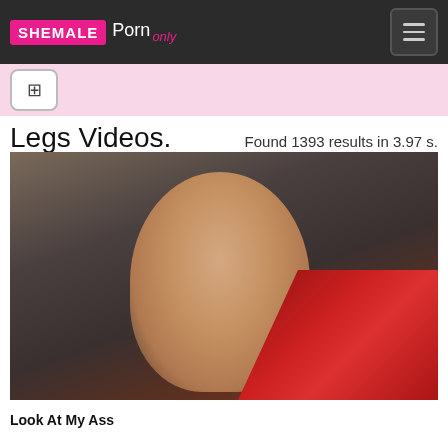Shemale Porn Only
Legs Videos.
Found 1393 results in 3.97 s.
[Figure (photo): Video thumbnail showing adult content]
Look At My Ass